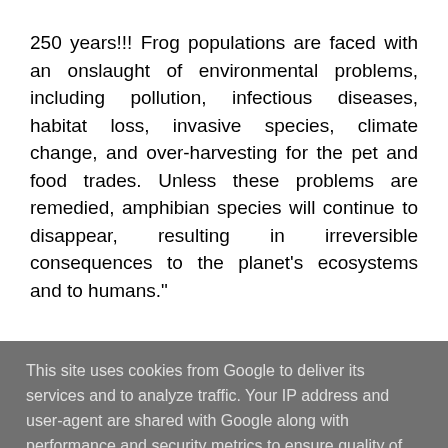250 years!!! Frog populations are faced with an onslaught of environmental problems, including pollution, infectious diseases, habitat loss, invasive species, climate change, and over-harvesting for the pet and food trades. Unless these problems are remedied, amphibian species will continue to disappear, resulting in irreversible consequences to the planet's ecosystems and to humans."
This site uses cookies from Google to deliver its services and to analyze traffic. Your IP address and user-agent are shared with Google along with performance and security metrics to ensure quality of service, generate usage statistics, and to detect and address abuse.
LEARN MORE   OK